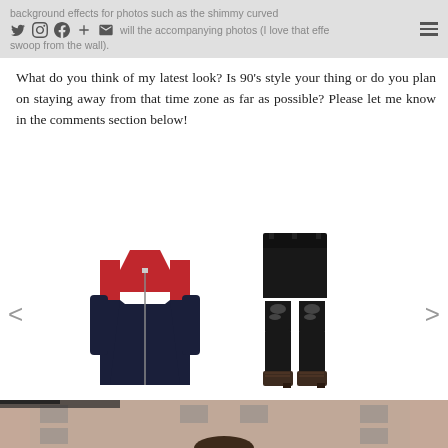background effects for photos such as the shimmy curved will the accompanying photos (I love that effect swoop from the wall).
What do you think of my latest look? Is 90's style your thing or do you plan on staying away from that time zone as far as possible? Please let me know in the comments section below!
[Figure (photo): Product carousel showing a red/white/black colorblock zip-up track jacket on the left, and black ripped skinny jeans with lace-up heels on the right, with left and right navigation arrows]
[Figure (photo): Bottom portion of a street-style photo showing a person in front of a building with windows, partially cropped]